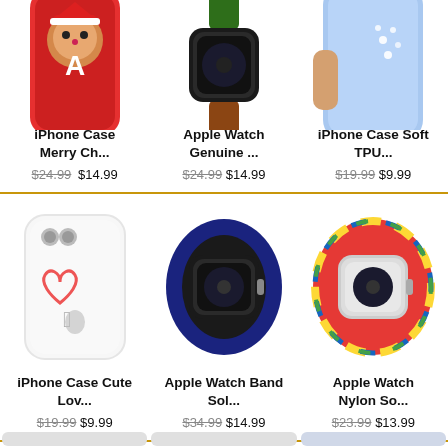[Figure (photo): iPhone case with Christmas / Merry Christmas theme, red background, product image cropped at top]
iPhone Case Merry Ch...
$24.99 $14.99
[Figure (photo): Apple Watch with genuine leather band in green and brown, product image cropped at top]
Apple Watch Genuine ...
$24.99 $14.99
[Figure (photo): iPhone case soft TPU in light blue with rhinestone decorations, product image cropped at top]
iPhone Case Soft TPU...
$19.99 $9.99
[Figure (photo): iPhone clear case with red heart outline on back, Apple logo visible]
iPhone Case Cute Lov...
$19.99 $9.99
[Figure (photo): Apple Watch with navy blue solo loop nylon band]
Apple Watch Band Sol...
$34.99 $14.99
[Figure (photo): Apple Watch with colorful braided nylon solo loop band in rainbow colors]
Apple Watch Nylon So...
$23.99 $13.99
[Figure (photo): Partial product image at bottom row, left column, cut off]
[Figure (photo): Partial product image at bottom row, center column, cut off]
[Figure (photo): Partial product image at bottom row, right column, cut off]